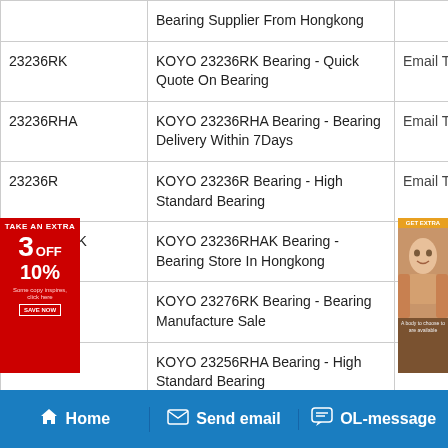| Part Number | Description | Action |
| --- | --- | --- |
|  | Bearing Supplier From Hongkong |  |
| 23236RK | KOYO 23236RK Bearing - Quick Quote On Bearing | Email To Buy |
| 23236RHA | KOYO 23236RHA Bearing - Bearing Delivery Within 7Days | Email To Buy |
| 23236R | KOYO 23236R Bearing - High Standard Bearing | Email To Buy |
| 23236RHAK | KOYO 23236RHAK Bearing - Bearing Store In Hongkong | Email To Buy |
| 23276RK | KOYO 23276RK Bearing - Bearing Manufacture Sale | Email To Buy |
| 23256RHA | KOYO 23256RHA Bearing - High Standard Bearing | Email To Buy |
Home | Send email | OL-message